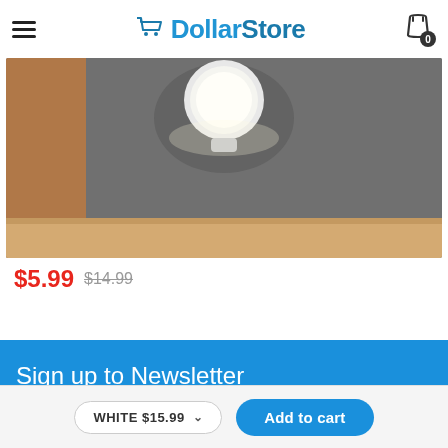DollarStore
[Figure (photo): Product photo showing a white circular LED night light mounted on a wooden shelf against a dark gray wall background.]
$5.99  $14.99
Sign up to Newsletter
WHITE $15.99  Add to cart